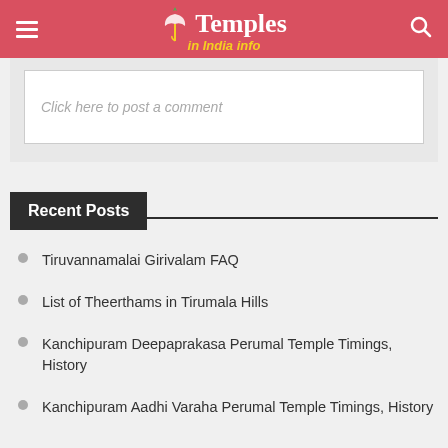Temples in India info
Click here to post a comment
Recent Posts
Tiruvannamalai Girivalam FAQ
List of Theerthams in Tirumala Hills
Kanchipuram Deepaprakasa Perumal Temple Timings, History
Kanchipuram Aadhi Varaha Perumal Temple Timings, History